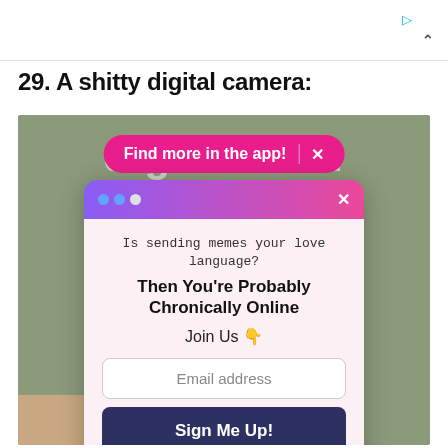29. A shitty digital camera:
[Figure (screenshot): A screenshot of a web page showing a photo of someone holding a camera, overlaid with a pink pill-shaped 'Find more in the app! X' banner and a modal dialog popup with a gradient purple-pink title bar, three traffic-light circles, an X button, body text 'Is sending memes your love language? Then You're Probably Chronically Online Join Us 👇', an email address input field, a 'Sign Me Up!' button, and a 'No Thanks' link.]